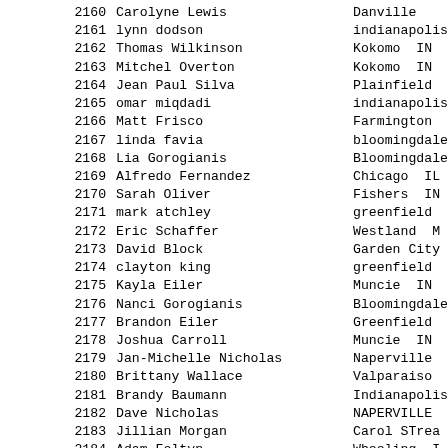| ID | Name | City |
| --- | --- | --- |
| 2160 | Carolyne Lewis | Danville |
| 2161 | lynn dodson | indianapolis |
| 2162 | Thomas Wilkinson | Kokomo IN |
| 2163 | Mitchel Overton | Kokomo IN |
| 2164 | Jean Paul Silva | Plainfield |
| 2165 | omar miqdadi | indianapolis |
| 2166 | Matt Frisco | Farmington |
| 2167 | linda favia | bloomingdale |
| 2168 | Lia Gorogianis | Bloomingdale |
| 2169 | Alfredo Fernandez | Chicago IL |
| 2170 | Sarah Oliver | Fishers IN |
| 2171 | mark atchley | greenfield |
| 2172 | Eric Schaffer | Westland M |
| 2173 | David Block | Garden City |
| 2174 | clayton king | greenfield |
| 2175 | Kayla Eiler | Muncie IN |
| 2176 | Nanci Gorogianis | Bloomingdale |
| 2177 | Brandon Eiler | Greenfield |
| 2178 | Joshua Carroll | Muncie IN |
| 2179 | Jan-Michelle Nicholas | Naperville |
| 2180 | Brittany Wallace | Valparaiso |
| 2181 | Brandy Baumann | Indianapolis |
| 2182 | Dave Nicholas | NAPERVILLE |
| 2183 | Jillian Morgan | Carol STrea |
| 2184 | Adam Foltyn | Wheeling I |
| 2185 | Jyoti Patel | Addison IL |
| 2186 | Davis Marasligiller | Cincinnati |
| 2187 | Joe Marshall | Glen Ellyn |
| 2188 | Sarah Pelenis | Glen Ellyn |
| 2189 | Phillip Dowd | Cincinnati |